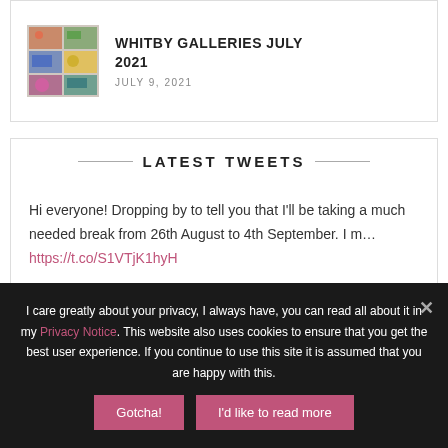[Figure (photo): Collage of flower/art photos thumbnail]
WHITBY GALLERIES JULY 2021
JULY 9, 2021
LATEST TWEETS
Hi everyone! Dropping by to tell you that I'll be taking a much needed break from 26th August to 4th September. I m… https://t.co/S1VTjK1hyH
I care greatly about your privacy, I always have, you can read all about it in my Privacy Notice. This website also uses cookies to ensure that you get the best user experience. If you continue to use this site it is assumed that you are happy with this.